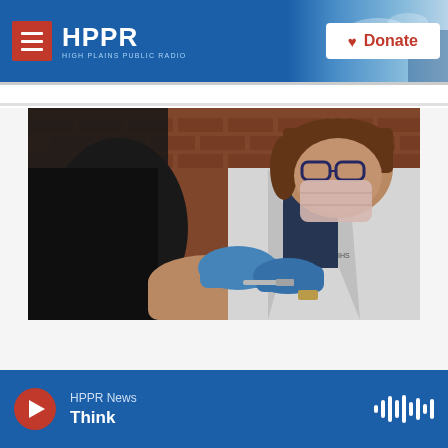HPPR - HIGH PLAINS PUBLIC RADIO | Donate
[Figure (photo): A healthcare worker wearing a white lab coat, blue gloves, and a face mask administering a vaccine injection to a patient's arm, with a brick wall in the background.]
HPPR News | Think (audio player bar)